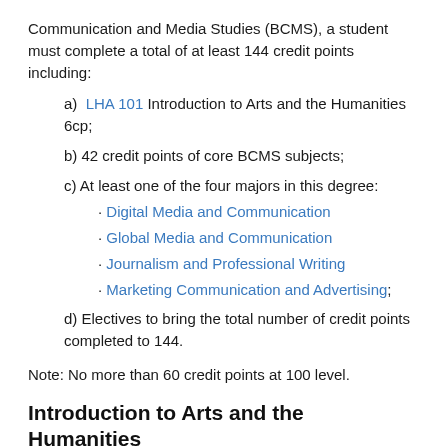Communication and Media Studies (BCMS), a student must complete a total of at least 144 credit points including:
a) LHA 101 Introduction to Arts and the Humanities 6cp;
b) 42 credit points of core BCMS subjects;
c) At least one of the four majors in this degree:
· Digital Media and Communication
· Global Media and Communication
· Journalism and Professional Writing
· Marketing Communication and Advertising;
d) Electives to bring the total number of credit points completed to 144.
Note: No more than 60 credit points at 100 level.
Introduction to Arts and the Humanities